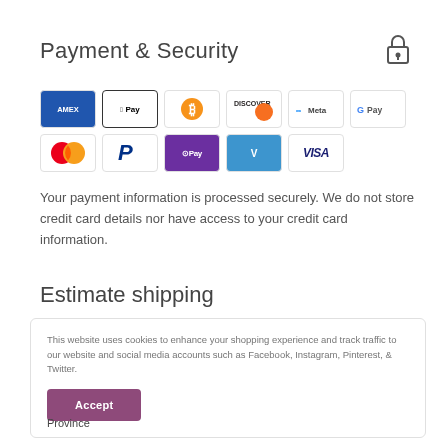Payment & Security
[Figure (other): Payment method icons: Amex, Apple Pay, Bitcoin, Discover, Meta, Google Pay, Mastercard, PayPal, OPay, Venmo, Visa]
Your payment information is processed securely. We do not store credit card details nor have access to your credit card information.
Estimate shipping
This website uses cookies to enhance your shopping experience and track traffic to our website and social media accounts such as Facebook, Instagram, Pinterest, & Twitter.
Province